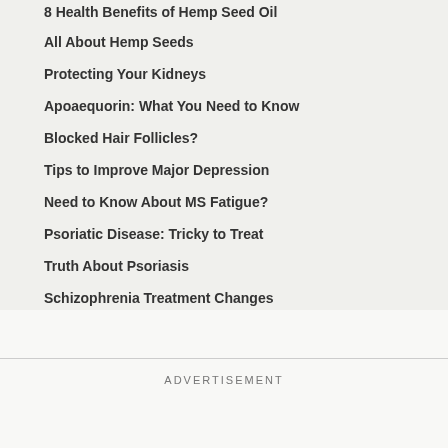8 Health Benefits of Hemp Seed Oil
All About Hemp Seeds
Protecting Your Kidneys
Apoaequorin: What You Need to Know
Blocked Hair Follicles?
Tips to Improve Major Depression
Need to Know About MS Fatigue?
Psoriatic Disease: Tricky to Treat
Truth About Psoriasis
Schizophrenia Treatment Changes
Biologics for Psoriatic Disease
ADVERTISEMENT